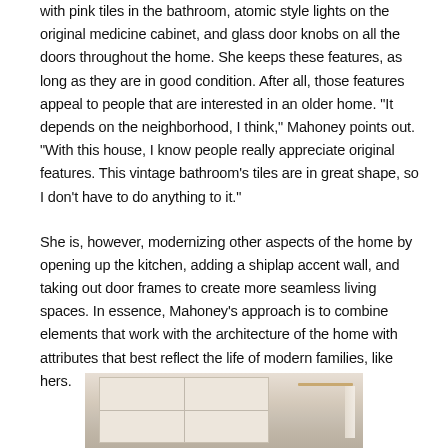with pink tiles in the bathroom, atomic style lights on the original medicine cabinet, and glass door knobs on all the doors throughout the home. She keeps these features, as long as they are in good condition. After all, those features appeal to people that are interested in an older home. "It depends on the neighborhood, I think," Mahoney points out. "With this house, I know people really appreciate original features. This vintage bathroom's tiles are in great shape, so I don't have to do anything to it."
She is, however, modernizing other aspects of the home by opening up the kitchen, adding a shiplap accent wall, and taking out door frames to create more seamless living spaces. In essence, Mahoney's approach is to combine elements that work with the architecture of the home with attributes that best reflect the life of modern families, like hers.
[Figure (photo): Partial photo of a home interior showing what appears to be white shiplap wall paneling and a gold/brass towel bar or rod, with warm beige tones.]